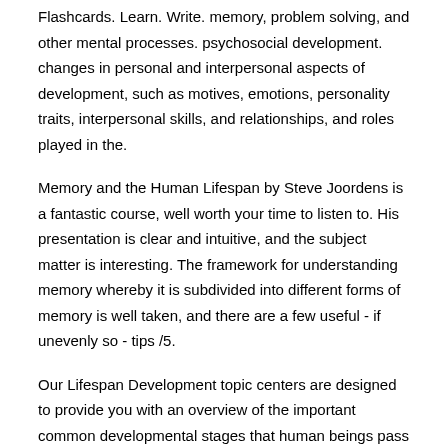Flashcards. Learn. Write. memory, problem solving, and other mental processes. psychosocial development. changes in personal and interpersonal aspects of development, such as motives, emotions, personality traits, interpersonal skills, and relationships, and roles played in the.
Memory and the Human Lifespan by Steve Joordens is a fantastic course, well worth your time to listen to. His presentation is clear and intuitive, and the subject matter is interesting. The framework for understanding memory whereby it is subdivided into different forms of memory is well taken, and there are a few useful - if unevenly so - tips /5.
Our Lifespan Development topic centers are designed to provide you with an overview of the important common developmental stages that human beings pass through: birth, infancy, adolescence, adulthood, old age and finally death. Along the way we learn how to use our bodies, to communicate, to form relationships, to work and to love.
Knowledge. An original approach to memory development that views memory as a continuous process of growth and loss over the human